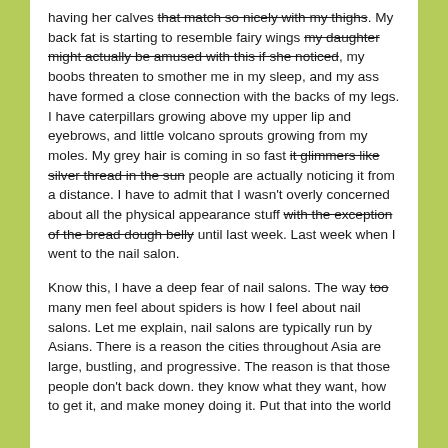having her calves that match so nicely with my thighs. My back fat is starting to resemble fairy wings my daughter might actually be amused with this if she noticed, my boobs threaten to smother me in my sleep, and my ass have formed a close connection with the backs of my legs. I have caterpillars growing above my upper lip and eyebrows, and little volcano sprouts growing from my moles. My grey hair is coming in so fast it glimmers like silver thread in the sun people are actually noticing it from a distance. I have to admit that I wasn't overly concerned about all the physical appearance stuff with the exception of the bread dough belly until last week. Last week when I went to the nail salon.
Know this, I have a deep fear of nail salons. The way too many men feel about spiders is how I feel about nail salons. Let me explain, nail salons are typically run by Asians. There is a reason the cities throughout Asia are large, bustling, and progressive. The reason is that those people don't back down. they know what they want, how to get it, and make money doing it. Put that into the world